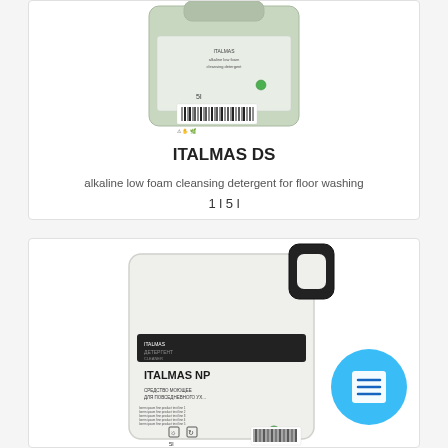[Figure (photo): ITALMAS DS product — a pale green plastic canister/container with label showing product name and barcode, photographed on white background]
ITALMAS DS
alkaline low foam cleansing detergent for floor washing
1 l 5 l
[Figure (photo): ITALMAS NP product — a large white/off-white plastic jerrycan with black handle, label reading ITALMAS NP with product description text, barcode and safety symbols; a blue circular icon with document/list symbol visible to the right]